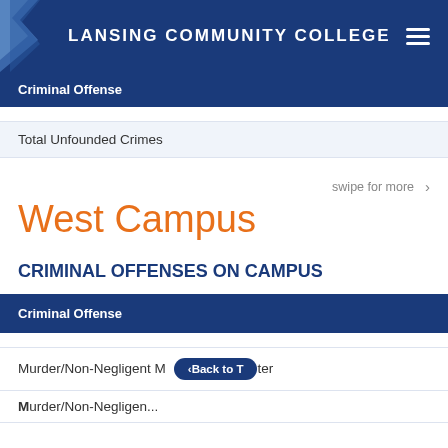LANSING COMMUNITY COLLEGE
Criminal Offense
Total Unfounded Crimes
swipe for more >
West Campus
CRIMINAL OFFENSES ON CAMPUS
Criminal Offense
Murder/Non-Negligent M...ter
Back to T...
Murder/Non-Negligent Negligen...